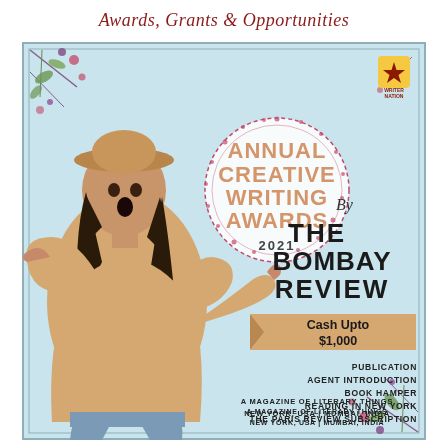Awards, Grants & Opportunities
[Figure (illustration): Promotional flyer for Annual Creative Writing Awards 2021 by The Bombay Review. Features a woman in a beige sweater and hat pointing at a circular badge, with floral decorations, cash prize of up to $1,000, and list of prizes including Publication, Agent Introduction, Book Hamper, Reading in New York, The Paris Review Subscription.]